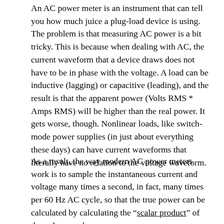An AC power meter is an instrument that can tell you how much juice a plug-load device is using. The problem is that measuring AC power is a bit tricky. This is because when dealing with AC, the current waveform that a device draws does not have to be in phase with the voltage. A load can be inductive (lagging) or capacitive (leading), and the result is that the apparent power (Volts RMS * Amps RMS) will be higher than the real power. It gets worse, though. Nonlinear loads, like switch-mode power supplies (in just about everything these days) can have current waveforms that literally have no relation to the voltage waveform.
As a result, the way modern AC power meters work is to sample the instantaneous current and voltage many times a second, in fact, many times per 60 Hz AC cycle, so that the true power can be calculated by calculating the “scalar product” of the voltage and